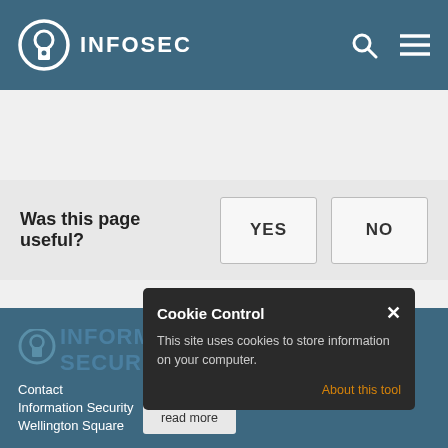INFOSEC
Was this page useful?
[Figure (screenshot): YES and NO feedback buttons]
[Figure (screenshot): Cookie Control popup overlay with text: This site uses cookies to store information on your computer. About this tool link and read more tooltip.]
Contact | Information Security | Wellington Square